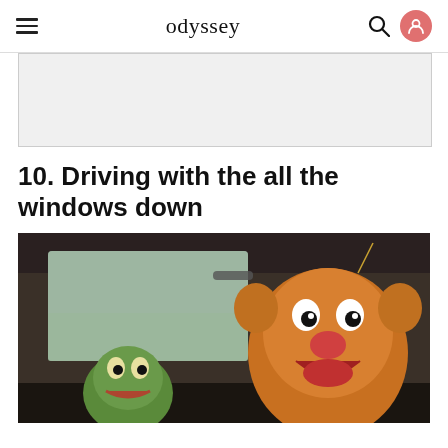odyssey
[Figure (other): Gray advertisement placeholder box]
10. Driving with the all the windows down
[Figure (photo): Kermit the Frog and Fozzie Bear sitting in a car, Fozzie at the steering wheel, viewed from the front seat. Vintage-style photo from The Muppets.]